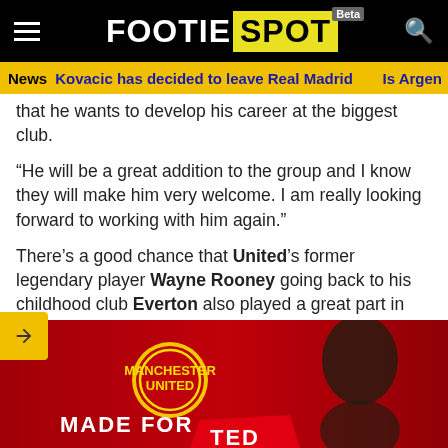FOOTIE SPOT Beta
News | Kovacic has decided to leave Real Madrid | Is Argen
that he wants to develop his career at the biggest club.
“He will be a great addition to the group and I know they will make him very welcome. I am really looking forward to working with him again.”
There’s a good chance that United’s former legendary player Wayne Rooney going back to his childhood club Everton also played a great part in the deal going in the Red Devils’ favor.
[Figure (photo): Manchester United branded red background with a player and 'Made For' text, Manchester United crest visible]